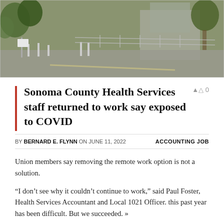[Figure (photo): Exterior photo of a government or office building with a parking area, bollards, fence, and trees in the background.]
Sonoma County Health Services staff returned to work say exposed to COVID
BY BERNARD E. FLYNN ON JUNE 11, 2022   ACCOUNTING JOB
Union members say removing the remote work option is not a solution.
“I don’t see why it couldn’t continue to work,” said Paul Foster, Health Services Accountant and Local 1021 Officer. this past year has been difficult. But we succeeded. »